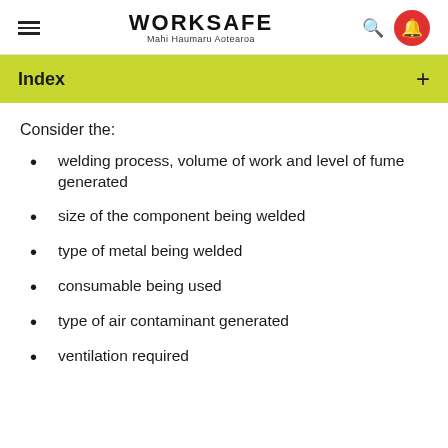WORKSAFE Mahi Haumaru Aotearoa
Index
Consider the:
welding process, volume of work and level of fume generated
size of the component being welded
type of metal being welded
consumable being used
type of air contaminant generated
ventilation required